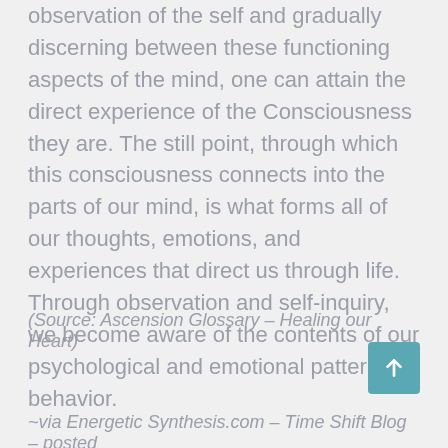observation of the self and gradually discerning between these functioning aspects of the mind, one can attain the direct experience of the Consciousness they are. The still point, through which this consciousness connects into the parts of our mind, is what forms all of our thoughts, emotions, and experiences that direct us through life. Through observation and self-inquiry, we become aware of the contents of our psychological and emotional patterns of behavior.
(Source: Ascension Glossary – Healing our Heart)
~via Energetic Synthesis.com – Time Shift Blog – posted